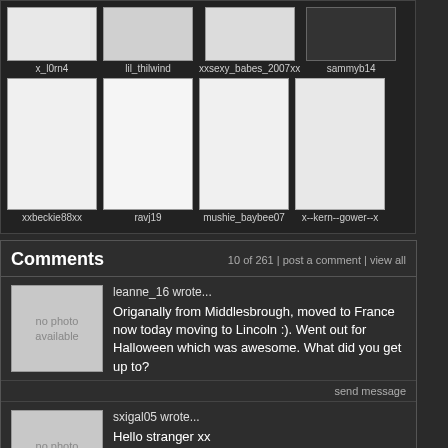[Figure (screenshot): Social network page showing photo grid thumbnails with usernames: x_l0rn4, lil_thilwind, xxsexy_babes_2007xx, sammyb14, xxbeckie88xx, ravj19, mushie_baybee07, x--kern--gower--x]
Comments
10 of 261 | post a comment | view all
leanne_16 wrote...
Origanally from Middlesbrough, moved to France now today moving to Lincoln :). Went out for Halloween which was awesome. What did you get up to?
send message
sxigal05 wrote...
Hello stranger xx
send message
sxigal05 wrote...
Def not a wanna b lol :) and just work really then weekend off u? Xx
send message